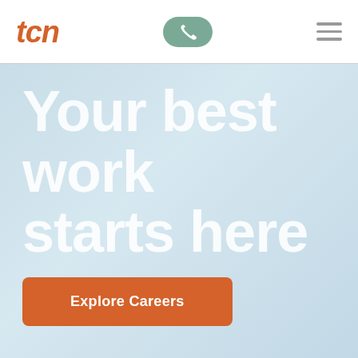tcn
Your best work starts here
Explore Careers